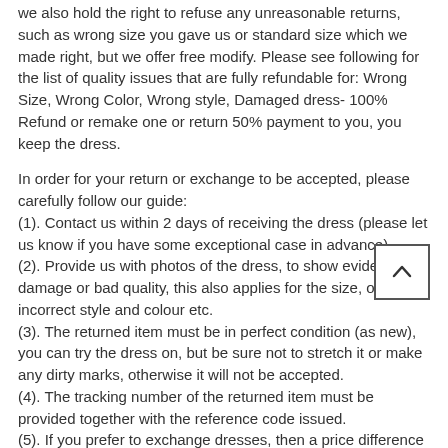we also hold the right to refuse any unreasonable returns, such as wrong size you gave us or standard size which we made right, but we offer free modify. Please see following for the list of quality issues that are fully refundable for: Wrong Size, Wrong Color, Wrong style, Damaged dress- 100% Refund or remake one or return 50% payment to you, you keep the dress.
In order for your return or exchange to be accepted, please carefully follow our guide:
(1). Contact us within 2 days of receiving the dress (please let us know if you have some exceptional case in advance)
(2). Provide us with photos of the dress, to show evidence of damage or bad quality, this also applies for the size, or incorrect style and colour etc.
(3). The returned item must be in perfect condition (as new), you can try the dress on, but be sure not to stretch it or make any dirty marks, otherwise it will not be accepted.
(4). The tracking number of the returned item must be provided together with the reference code issued.
(5). If you prefer to exchange dresses, then a price difference will be charged if more expensive.
(6). You are required to pay for the shipping fee to return or exchange the dress.
(7). When you return the package to us, please pay attention to the following points, if not, customers should pay for the duty:
we put all of our energy and mind into each dress, each of our dress are full of